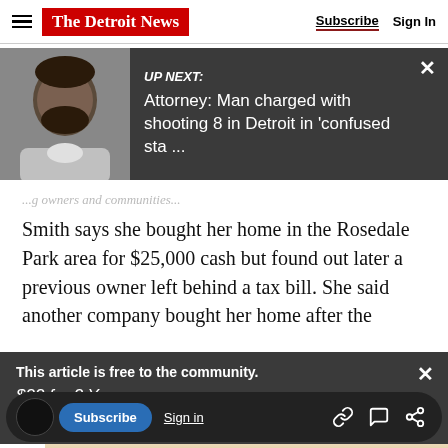The Detroit News — Subscribe  Sign In
[Figure (screenshot): UP NEXT banner with mugshot photo. Text: UP NEXT: Attorney: Man charged with shooting 8 in Detroit in 'confused sta ...']
Smith says she bought her home in the Rosedale Park area for $25,000 cash but found out later a previous owner left behind a tax bill. She said another company bought her home after the
[Figure (infographic): Subscription offer overlay: 'This article is free to the community. $22 for 2 Years. Subscribe now']
[Figure (photo): Cookies and baked goods photo partially visible at bottom]
Subscribe  Sign in